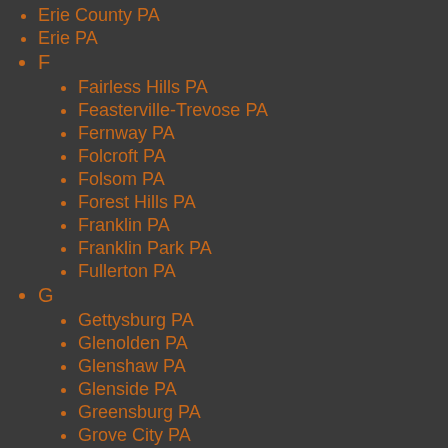Erie County PA
Erie PA
F
Fairless Hills PA
Feasterville-Trevose PA
Fernway PA
Folcroft PA
Folsom PA
Forest Hills PA
Franklin PA
Franklin Park PA
Fullerton PA
G
Gettysburg PA
Glenolden PA
Glenshaw PA
Glenside PA
Greensburg PA
Grove City PA
H
Hampton Township PA
Hanover PA
Harleysville PA